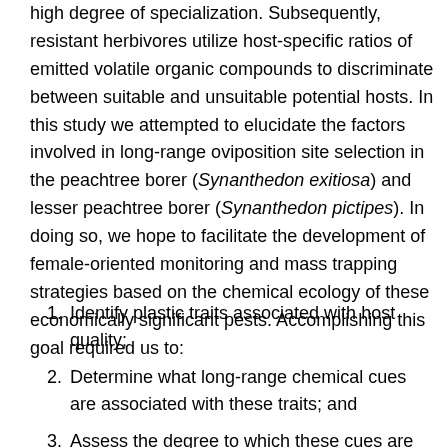high degree of specialization.  Subsequently, resistant herbivores utilize host-specific ratios of emitted volatile organic compounds to discriminate between suitable and unsuitable potential hosts.  In this study we attempted to elucidate the factors involved in long-range oviposition site selection in the peachtree borer (Synanthedon exitiosa) and lesser peachtree borer (Synanthedon pictipes).  In doing so, we hope to facilitate the development of female-oriented monitoring and mass trapping strategies based on the chemical ecology of these economically significant pests. Accomplishing this goal required us to:
Identify plastic traits associated with host quality;
Determine what long-range chemical cues are associated with these traits; and
Assess the degree to which these cues are